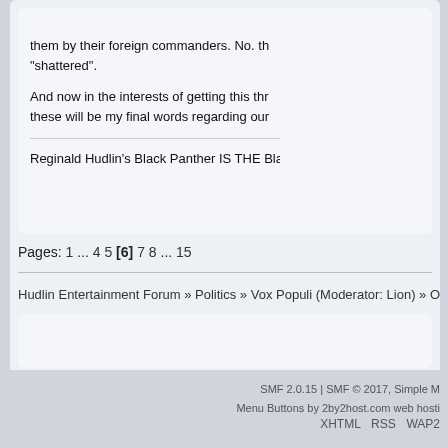them by their foreign commanders. No. th... "shattered".
And now in the interests of getting this thr... these will be my final words regarding our
Reginald Hudlin's Black Panther IS THE Black Pa
Pages: 1 ... 4 5 [6] 7 8 ... 15
Hudlin Entertainment Forum » Politics » Vox Populi (Moderator: Lion) » Obama's Church
SMF 2.0.15 | SMF © 2017, Simple M
Menu Buttons by 2by2host.com web hosti...
XHTML   RSS   WAP2